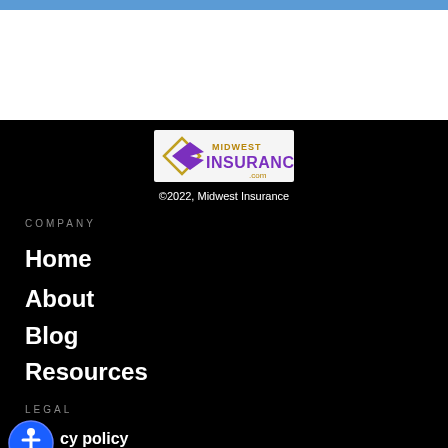[Figure (logo): Midwest Insurance logo with purple diamond/arrow shape and gold/purple text reading MIDWEST INSURANCE .com]
©2022, Midwest Insurance
COMPANY
Home
About
Blog
Resources
LEGAL
Privacy policy
Terms & Conditions